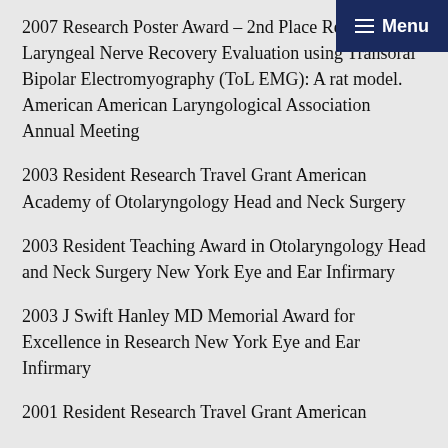2007 Research Poster Award – 2nd Place Recurrent Laryngeal Nerve Recovery Evaluation using Transoral Bipolar Electromyography (ToL EMG): A rat model. American American Laryngological Association Annual Meeting
2003 Resident Research Travel Grant American Academy of Otolaryngology Head and Neck Surgery
2003 Resident Teaching Award in Otolaryngology Head and Neck Surgery New York Eye and Ear Infirmary
2003 J Swift Hanley MD Memorial Award for Excellence in Research New York Eye and Ear Infirmary
2001 Resident Research Travel Grant American